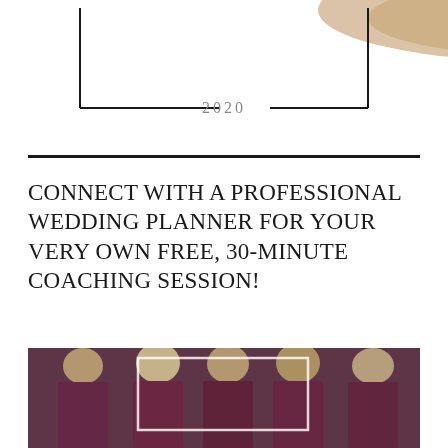[Figure (illustration): Top portion of a decorative graphic showing '2020' text with an L-shaped black border frame and a beige/tan hat or floral element visible at the top]
CONNECT WITH A PROFESSIONAL WEDDING PLANNER FOR YOUR VERY OWN FREE, 30-MINUTE COACHING SESSION!
[Figure (photo): Photo of women in dark burgundy/wine colored dresses, appearing to be bridesmaids, with a white rectangular overlay frame in the center]